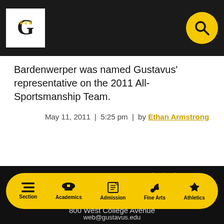[Figure (logo): Gustavus Adolphus College logo in header bar with G monogram in white box, and yellow search icon circle on right]
Bardenwerper was named Gustavus' representative on the 2011 All-Sportsmanship Team.
May 11, 2011  |  5:25 pm  |  by Ethan Armstrong
[Figure (logo): Gustavus Adolphus College footer logo — large white serif GUSTAVUS text with yellow crowns, divider line, GUSTAVUS ADOLPHUS COLLEGE subtitle]
800 West College Avenue
Section  Academics  Admission  Fine Arts  Athletics
web@gustavus.edu